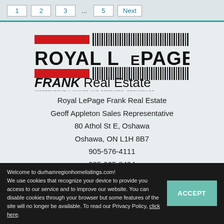1 2 3 ... 5 Next
[Figure (logo): Royal LePage Frank Real Estate logo with red bars, barcode-style lines, bold black ROYAL LePAGE text, FRANK Real Estate, and INDEPENDENTLY OWNED AND OPERATED, BROKERAGE]
Royal LePage Frank Real Estate
Geoff Appleton Sales Representative
80 Athol St E, Oshawa
Oshawa, ON L1H 8B7
905-576-4111
905-925-8494
Welcome to durhamregionhomelistings.com! We use cookies that recognize your device to provide you access to our service and to improve our website. You can disable cookies through your browser but some features of the site will no longer be available. To read our Privacy Policy, click here.